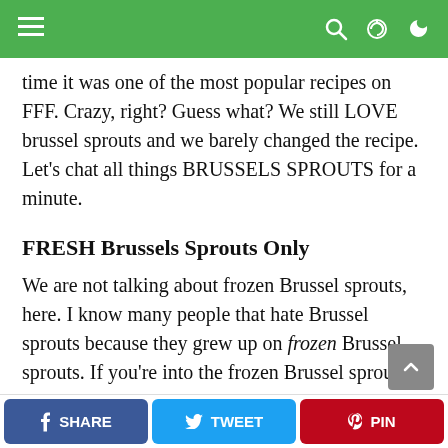≡  🔍  ☽
time it was one of the most popular recipes on FFF. Crazy, right? Guess what? We still LOVE brussel sprouts and we barely changed the recipe. Let's chat all things BRUSSELS SPROUTS for a minute.
FRESH Brussels Sprouts Only
We are not talking about frozen Brussel sprouts, here. I know many people that hate Brussel sprouts because they grew up on frozen Brussel sprouts. If you're into the frozen Brussel sprouts thing, more power to you. However, those things are mushier than wet leaves on a crisp fall day after it's rained. Do
SHARE  TWEET  PIN